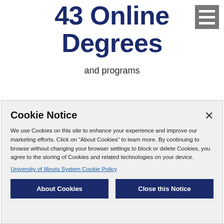43 Online Degrees
and programs
[Figure (other): Hamburger menu icon — three white horizontal lines on a gray square background]
Cookie Notice
We use Cookies on this site to enhance your experience and improve our marketing efforts. Click on “About Cookies” to learn more. By continuing to browse without changing your browser settings to block or delete Cookies, you agree to the storing of Cookies and related technologies on your device.
University of Illinois System Cookie Policy
About Cookies
Close this Notice